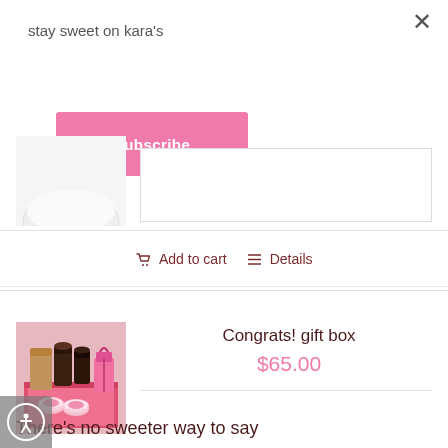stay sweet on kara's
Subscribe
[Figure (photo): Partial view of a white bowl or dessert product image]
Add to cart   Details
[Figure (photo): Congrats gift box with chocolates, macarons, popcorn, and beauty items in a pink box]
Congrats! gift box
$65.00
There's no sweeter way to say
Congratulations! Box includes: